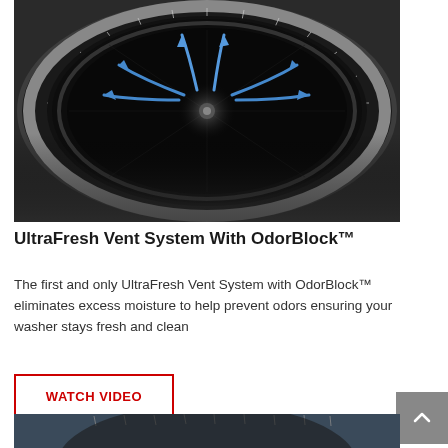[Figure (photo): Close-up of a washing machine drum/vent system showing a dark circular opening with blue arrows indicating airflow/ventilation pattern (UltraFresh Vent System with OdorBlock)]
UltraFresh Vent System With OdorBlock™
The first and only UltraFresh Vent System with OdorBlock™ eliminates excess moisture to help prevent odors ensuring your washer stays fresh and clean
[Figure (other): WATCH VIDEO button with red border]
[Figure (photo): Bottom portion of another washing machine image, partially visible]